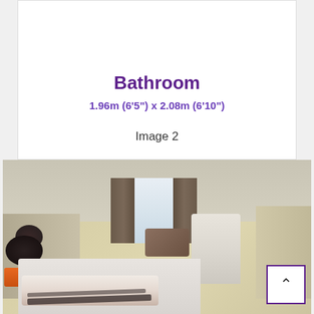[Figure (photo): Top portion of a bathroom photo showing toilet rolls on a light-colored floor]
Bathroom
1.96m (6'5") x 2.08m (6'10")
Image 2
[Figure (photo): Bedroom photo showing a double bed with dark patterned throw, white headboard, curtained window, drum kit in background]